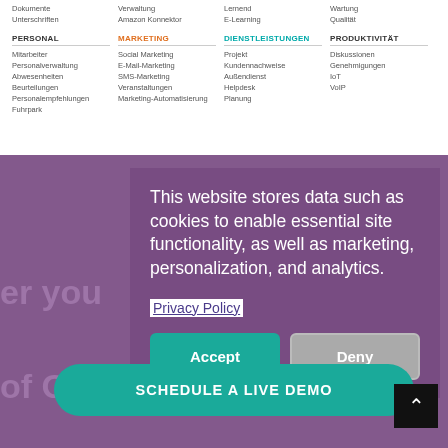PERSONAL
MARKETING
DIENSTLEISTUNGEN
PRODUKTIVITÄT
Mitarbeiter
Personalverwaltung
Abwesenheiten
Beurteilungen
Personalempfehlungen
Fuhrpark
Social Marketing
E-Mail-Marketing
SMS-Marketing
Veranstaltungen
Marketing-Automatisierung
Projekt
Kundennachweise
Außendienst
Helpdesk
Planung
Diskussionen
Genehmigungen
IoT
VoIP
This website stores data such as cookies to enable essential site functionality, as well as marketing, personalization, and analytics.
Privacy Policy
Accept
Deny
SCHEDULE A LIVE DEMO